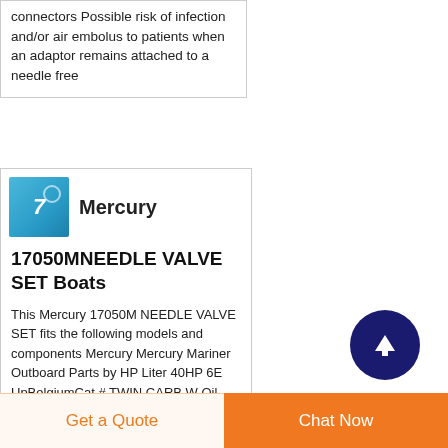connectors Possible risk of infection and/or air embolus to patients when an adaptor remains attached to a needle free
[Figure (logo): Mercury brand logo - blue gradient square with stylized number 7 and circle]
Mercury
17050MNEEDLE VALVE SET Boats
This Mercury 17050M NEEDLE VALVE SET fits the following models and components Mercury Mercury Mariner Outboard Parts by HP Liter 40HP 6E UpBelgiumCat # TWIN CARB W Oil
Get a Quote   Chat Now